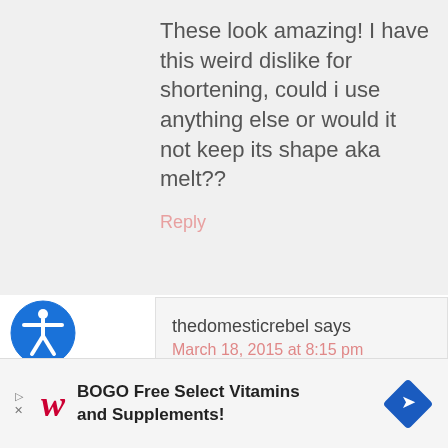These look amazing! I have this weird dislike for shortening, could i use anything else or would it not keep its shape aka melt??
Reply
thedomesticrebel says
March 18, 2015 at 8:15 pm
Hi Meghan! You know, I haven't experimented with anything other than shortening in the
[Figure (other): Accessibility icon — blue circle with white human figure symbol]
BOGO Free Select Vitamins and Supplements!